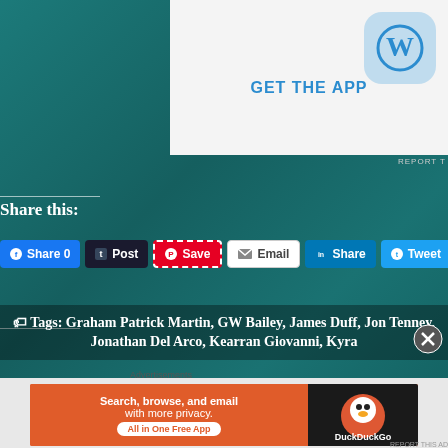[Figure (screenshot): WordPress GET THE APP banner with WordPress logo icon on light gray background]
REPORT T
Share this:
[Figure (screenshot): Social sharing buttons row: Facebook Share 0, Tumblr Post, Pinterest Save, Email, LinkedIn Share, Twitter Tweet]
Like this:
Loading...
Tags: Graham Patrick Martin, GW Bailey, James Duff, Jon Tenney, Jonathan Del Arco, Kearran Giovanni, Kyra
Advertisements
[Figure (screenshot): DuckDuckGo advertisement banner: Search, browse, and email with more privacy. All in One Free App]